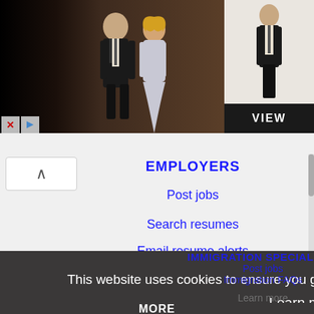[Figure (screenshot): Men's Wearhouse advertisement banner showing a couple in formal wear, a man in a tuxedo, with 'VIEW' button]
EMPLOYERS
Post jobs
Search resumes
Email resume alerts
Advertise
IMMIGRATION SPECIALISTS
Post jobs
Immigration FAQs
Learn more
This website uses cookies to ensure you get the best experience on our website.
Learn more
Got it!
MORE